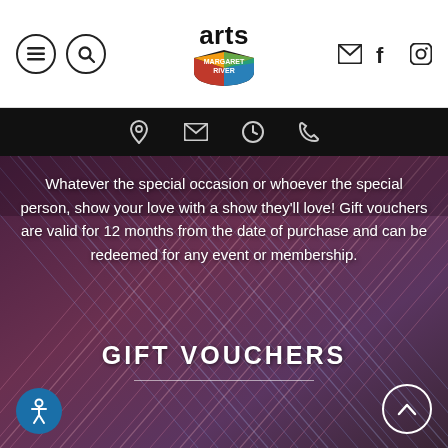[Figure (logo): Arts Margaret River logo with colorful shield and text]
[Figure (infographic): Black navigation bar with location, email, clock, and phone icons]
Whatever the special occasion or whoever the special person, show your love with a show they'll love! Gift vouchers are valid for 12 months from the date of purchase and can be redeemed for any event or membership.
GIFT VOUCHERS